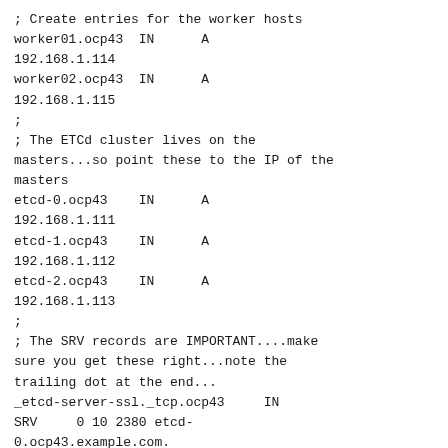; Create entries for the worker hosts
worker01.ocp43  IN      A
192.168.1.114
worker02.ocp43  IN      A
192.168.1.115
;
; The ETCd cluster lives on the masters...so point these to the IP of the masters
etcd-0.ocp43    IN      A
192.168.1.111
etcd-1.ocp43    IN      A
192.168.1.112
etcd-2.ocp43    IN      A
192.168.1.113
;
; The SRV records are IMPORTANT....make sure you get these right...note the trailing dot at the end...
_etcd-server-ssl._tcp.ocp43     IN
SRV     0 10 2380 etcd-0.ocp43.example.com.
_etcd-server-ssl._tcp.ocp43     IN
SRV     0 10 2380 etcd-1.ocp43.example.com.